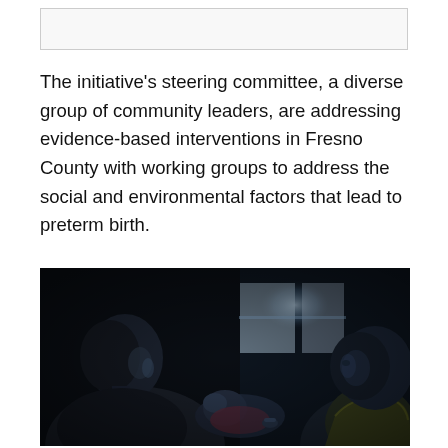[Figure (other): Light grey rectangular bar at the top of the page, likely a header image placeholder]
The initiative's steering committee, a diverse group of community leaders, are addressing evidence-based interventions in Fresno County with working groups to address the social and environmental factors that lead to preterm birth.
[Figure (photo): A dark, dimly lit photograph showing a woman in profile on the left holding a baby, and a young child in a yellow shirt on the right, with a blurred window in the background providing faint blue light. The scene appears to be indoors at night or in a dark room.]